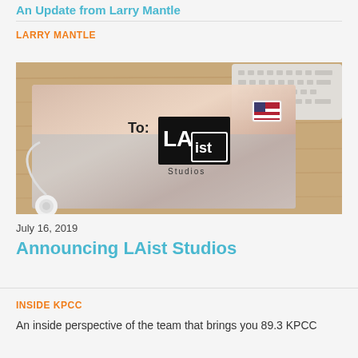An Update from Larry Mantle
LARRY MANTLE
[Figure (photo): A letter envelope addressed 'To: LAist Studios' with an American flag stamp, placed on a wooden desk next to a white keyboard and earphones]
July 16, 2019
Announcing LAist Studios
INSIDE KPCC
An inside perspective of the team that brings you 89.3 KPCC